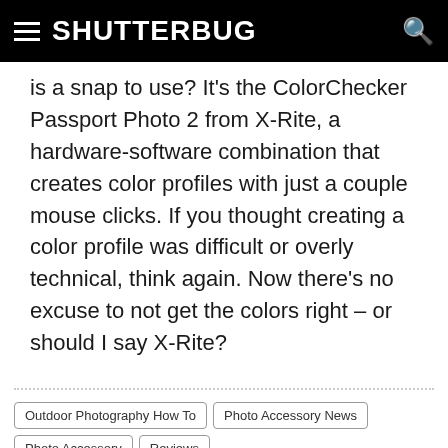SHUTTERBUG
is a snap to use? It’s the ColorChecker Passport Photo 2 from X-Rite, a hardware-software combination that creates color profiles with just a couple mouse clicks. If you thought creating a color profile was difficult or overly technical, think again. Now there’s no excuse to not get the colors right – or should I say X-Rite?
Continue Reading »
Outdoor Photography How To
Photo Accessory News
Photo Accessory Reviews